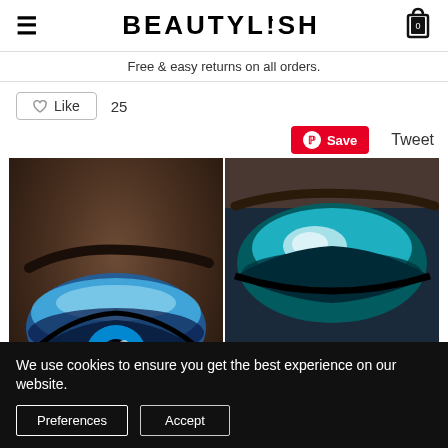BEAUTYLISH
Free & easy returns on all orders.
Like 25
Save Tweet
[Figure (photo): Three-panel makeup photo collage: large left panel shows a close-up of a human eye with blue/teal eyeshadow; top-right panel shows another eye with teal and white highlight eyeshadow; bottom-right panel shows a blonde woman wearing dramatic dark smoky eye makeup.]
We use cookies to ensure you get the best experience on our website.
Preferences  Accept